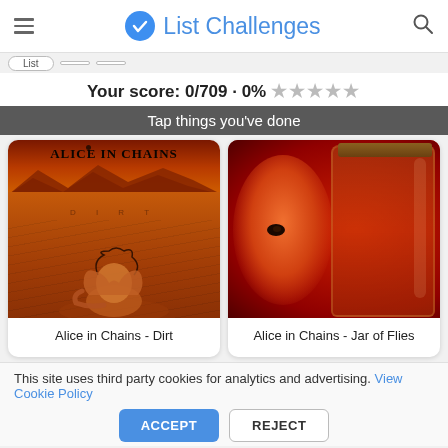List Challenges
Your score: 0/709 · 0% ★★★★★
Tap things you've done
[Figure (photo): Alice in Chains Dirt album cover - orange/red desert landscape with figure buried in dirt and band name text]
Alice in Chains - Dirt
[Figure (photo): Alice in Chains Jar of Flies album cover - child's face behind a glass jar filled with flies on red background]
Alice in Chains - Jar of Flies
This site uses third party cookies for analytics and advertising. View Cookie Policy
ACCEPT
REJECT